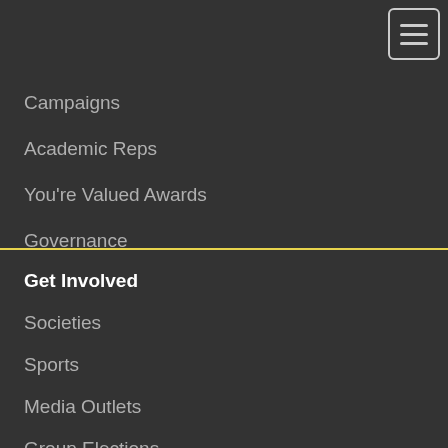[Figure (other): Hamburger menu button icon with three horizontal lines inside a rounded rectangle border]
Campaigns
Academic Reps
You're Valued Awards
Governance
Get Involved
Societies
Sports
Media Outlets
Group Elections
Group Training
Create Your Own
Admin